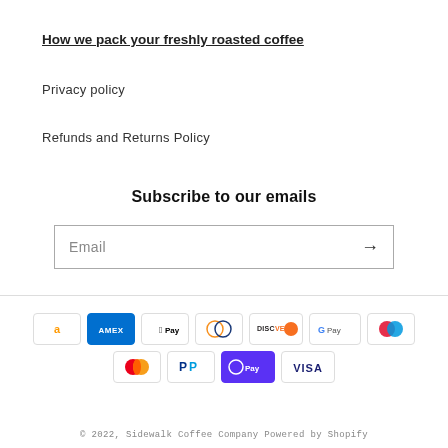How we pack your freshly roasted coffee
Privacy policy
Refunds and Returns Policy
Subscribe to our emails
Email
[Figure (other): Payment method icons: Amazon Pay, American Express, Apple Pay, Diners Club, Discover, Google Pay, Maestro, Mastercard, PayPal, Shop Pay, Visa]
© 2022, Sidewalk Coffee Company Powered by Shopify